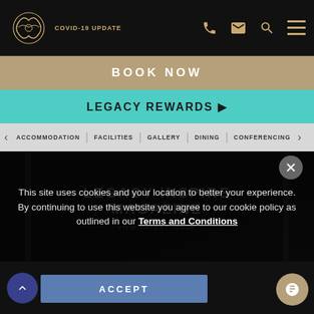[Figure (screenshot): Website navigation bar with logo, phone, mail, search, and hamburger menu icons on dark background. COVID-19 UPDATE text visible.]
BOOK NOW
LEGACY REWARDS ▶
ACCOMMODATION | FACILITIES | GALLERY | DINING | CONFERENCING
[Figure (screenshot): Legacy Inspire Magazine background image with VIEW LATEST ISSUE text]
This site uses cookies and your location to better your experience. By continuing to use this website you agree to our cookie policy as outlined in our Terms and Conditions
ACCEPT
COPYRIGHT ... ALL RIGHTS RESERVED LEGACY GROUP ... THE WORKS OF THE LEGACY GROUP.